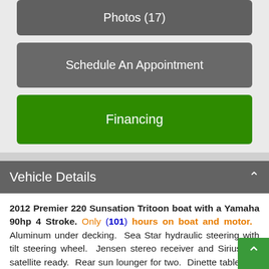Photos (17)
Schedule An Appointment
Financing
Vehicle Details
2012 Premier 220 Sunsation Tritoon boat with a Yamaha 90hp 4 Stroke. Only (101) hours on boat and motor. Aluminum under decking. Sea Star hydraulic steering with tilt steering wheel. Jensen stereo receiver and Sirius XM satellite ready. Rear sun lounger for two. Dinette table with removable stand. Fuel water separator. 14 person or 2000 LBS capacity. Bimini top with side drop and bow cover.